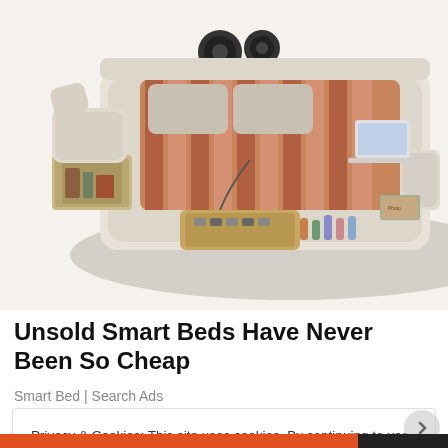[Figure (photo): A luxury smart bed with storage drawers, massage chairs, speakers, and various integrated features, shown in cream/beige color with wood accents.]
Unsold Smart Beds Have Never Been So Cheap
Smart Bed | Search Ads
Privacy & Cookies: This site uses cookies. By continuing to use this website, you agree to their use.
To find out more, including how to control cookies, see here: Cookie Policy
Close and accept